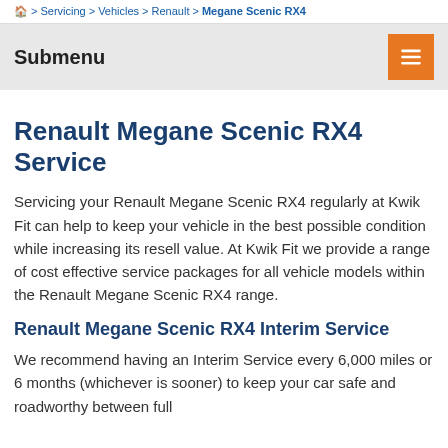🏠 > Servicing > Vehicles > Renault > Megane Scenic RX4
Submenu
Renault Megane Scenic RX4 Service
Servicing your Renault Megane Scenic RX4 regularly at Kwik Fit can help to keep your vehicle in the best possible condition while increasing its resell value. At Kwik Fit we provide a range of cost effective service packages for all vehicle models within the Renault Megane Scenic RX4 range.
Renault Megane Scenic RX4 Interim Service
We recommend having an Interim Service every 6,000 miles or 6 months (whichever is sooner) to keep your car safe and roadworthy between full